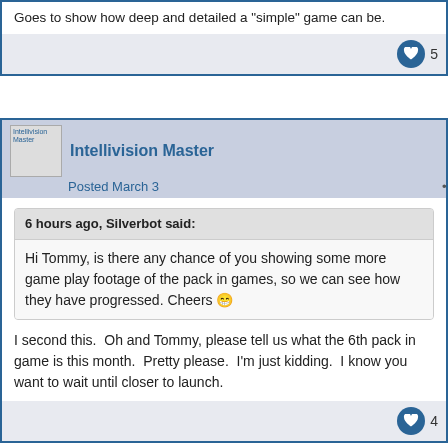Goes to show how deep and detailed a "simple" game can be.
5
Intellivision Master
Posted March 3   #28266
6 hours ago, Silverbot said:
Hi Tommy, is there any chance of you showing some more game play footage of the pack in games, so we can see how they have progressed. Cheers 😊
I second this.  Oh and Tommy, please tell us what the 6th pack in game is this month.  Pretty please.  I'm just kidding.  I know you want to wait until closer to launch.
4